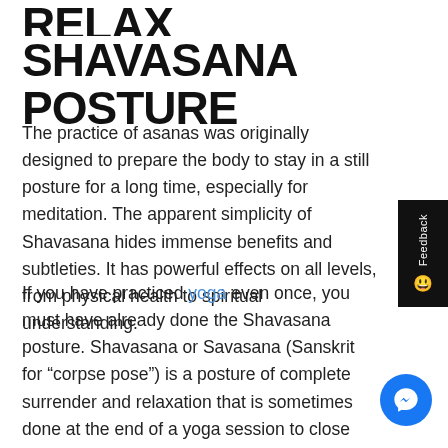RELAX YOURSELF IN THE SHAVASANA POSTURE
The practice of asanas was originally designed to prepare the body to stay in a still posture for a long time, especially for meditation. The apparent simplicity of Shavasana hides immense benefits and subtleties. It has powerful effects on all levels, from physical health to spiritual understanding.
If you have practiced yoga even once, you must have already done the Shavasana posture. Shavasana or Savasana (Sanskrit for “corpse pose”) is a posture of complete surrender and relaxation that is sometimes done at the end of a yoga session to close the practice. It is essential because it represents a time of pause and abandonment during which, lying on your back,